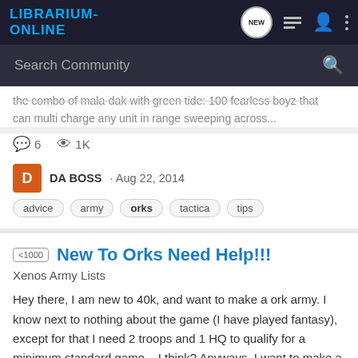LIBRARIUM-ONLINE
Search Community
the combo of mala-dak with green tide: 100 fearless boyz that can multi charge any unit in range sweeping across...
6 comments · 1K views
DA BOSS · Aug 22, 2014
advice · army · orks · tactica · tips
<1000 New To Orks Need Help!!!
Xenos Army Lists
Hey there, I am new to 40k, and want to make a ork army. I know next to nothing about the game (I have played fantasy), except for that I need 2 troops and 1 HQ to qualify for a minimum standard game... I think? Anyways, I want to make a very small ork army and was wondering if this would be...